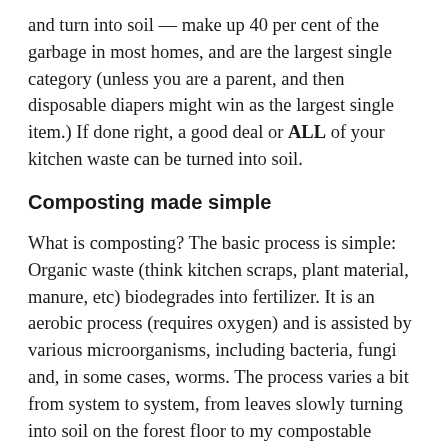and turn into soil — make up 40 per cent of the garbage in most homes, and are the largest single category (unless you are a parent, and then disposable diapers might win as the largest single item.) If done right, a good deal or ALL of your kitchen waste can be turned into soil.
Composting made simple
What is composting? The basic process is simple: Organic waste (think kitchen scraps, plant material, manure, etc) biodegrades into fertilizer. It is an aerobic process (requires oxygen) and is assisted by various microorganisms, including bacteria, fungi and, in some cases, worms. The process varies a bit from system to system, from leaves slowly turning into soil on the forest floor to my compostable diapers being turned into fertilizer in 24 hours in my electric-assist composter, The Red Dragon.